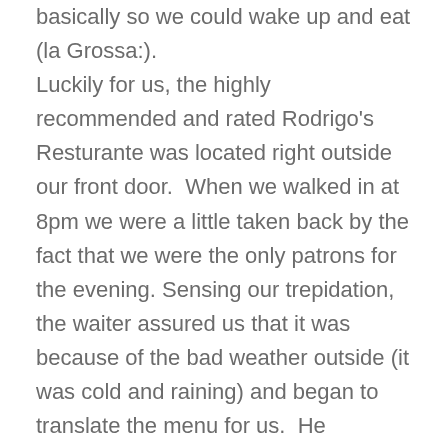basically so we could wake up and eat (la Grossa:).  Luckily for us, the highly recommended and rated Rodrigo's Resturante was located right outside our front door.  When we walked in at 8pm we were a little taken back by the fact that we were the only patrons for the evening. Sensing our trepidation, the waiter assured us that it was because of the bad weather outside (it was cold and raining) and began to translate the menu for us.  He recommended the local pasta specialties made in house; tortellini, tagliatelle, and tortelloni.  Of the three egg pastas, tortellini is perhaps the most famous, and its origins are linked to a tale about a servant cook who allegedly made the pasta in the shape of his master's wife's perfect navel.  I ordered the tagliatelle and my mom, the tortelloni.  As we were the only two patrons, when the food came out, both the waiter and the owner's (Rodrigo) son (Rodrigo, Jr)